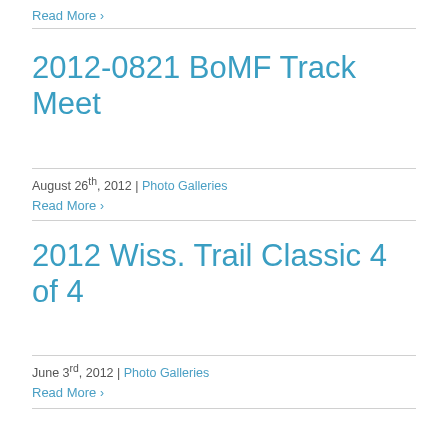Read More ›
2012-0821 BoMF Track Meet
August 26th, 2012 | Photo Galleries
Read More ›
2012 Wiss. Trail Classic 4 of 4
June 3rd, 2012 | Photo Galleries
Read More ›